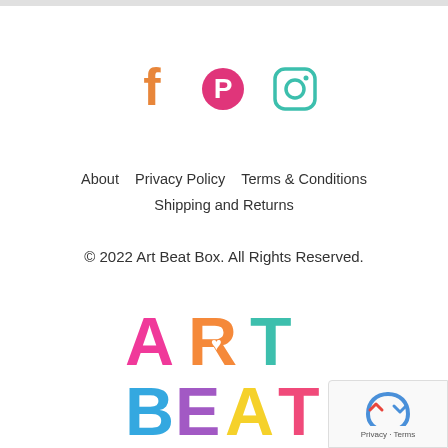[Figure (logo): Social media icons: Facebook (orange), Pinterest (pink/magenta), Instagram (teal/green)]
About   Privacy Policy   Terms & Conditions
Shipping and Returns
© 2022 Art Beat Box. All Rights Reserved.
[Figure (logo): Art Beat Box logo with colorful block letters: ART (pink A, orange R with heart, teal T) and BEAT (blue B, purple E, yellow A, pink T)]